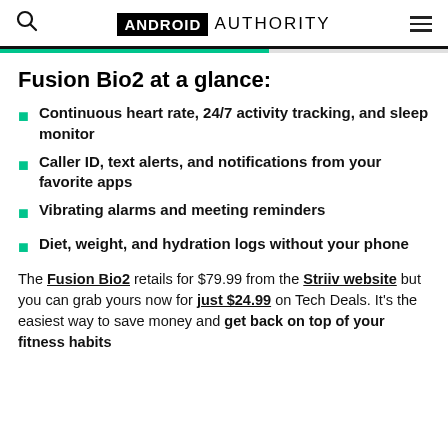ANDROID AUTHORITY
Fusion Bio2 at a glance:
Continuous heart rate, 24/7 activity tracking, and sleep monitor
Caller ID, text alerts, and notifications from your favorite apps
Vibrating alarms and meeting reminders
Diet, weight, and hydration logs without your phone
The Fusion Bio2 retails for $79.99 from the Striiv website but you can grab yours now for just $24.99 on Tech Deals. It's the easiest way to save money and get back on top of your fitness habits